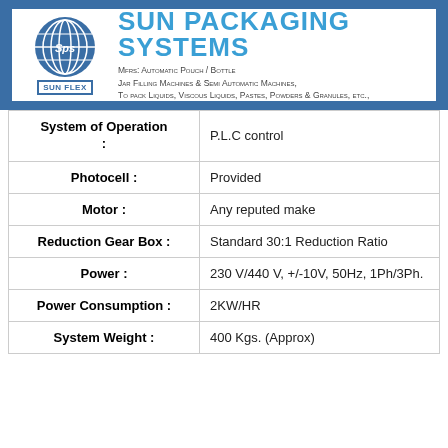[Figure (logo): Sun Packaging Systems company logo with SPS globe graphic, Sun Flex badge, company name and tagline about automatic pouch/bottle jar filling machines]
| Specification | Value |
| --- | --- |
| System of Operation : | P.L.C control |
| Photocell : | Provided |
| Motor : | Any reputed make |
| Reduction Gear Box : | Standard 30:1 Reduction Ratio |
| Power : | 230 V/440 V, +/-10V, 50Hz, 1Ph/3Ph. |
| Power Consumption : | 2KW/HR |
| System Weight : | 400 Kgs. (Approx) |